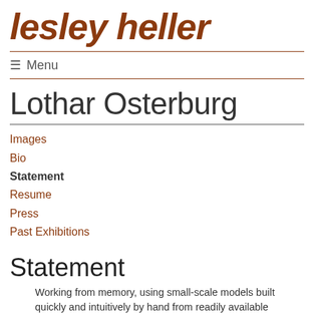lesley heller
≡ Menu
Lothar Osterburg
Images
Bio
Statement
Resume
Press
Past Exhibitions
Statement
Working from memory, using small-scale models built quickly and intuitively by hand from readily available